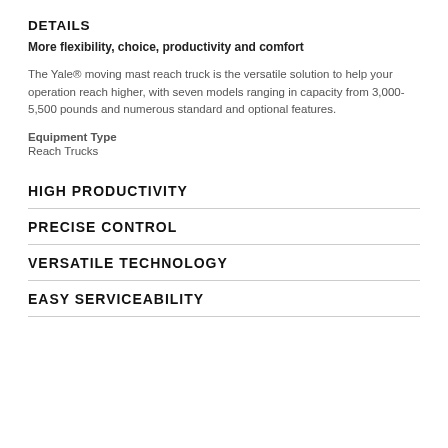DETAILS
More flexibility, choice, productivity and comfort
The Yale® moving mast reach truck is the versatile solution to help your operation reach higher, with seven models ranging in capacity from 3,000-5,500 pounds and numerous standard and optional features.
Equipment Type
Reach Trucks
HIGH PRODUCTIVITY
PRECISE CONTROL
VERSATILE TECHNOLOGY
EASY SERVICEABILITY